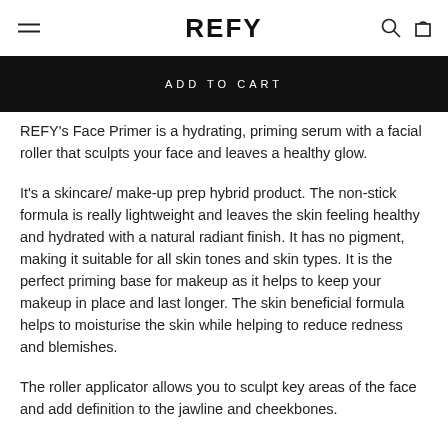REFY
[Figure (other): ADD TO CART black button bar]
REFY's Face Primer is a hydrating, priming serum with a facial roller that sculpts your face and leaves a healthy glow.
It's a skincare/ make-up prep hybrid product. The non-stick formula is really lightweight and leaves the skin feeling healthy and hydrated with a natural radiant finish. It has no pigment, making it suitable for all skin tones and skin types. It is the perfect priming base for makeup as it helps to keep your makeup in place and last longer. The skin beneficial formula helps to moisturise the skin while helping to reduce redness and blemishes.
The roller applicator allows you to sculpt key areas of the face and add definition to the jawline and cheekbones.